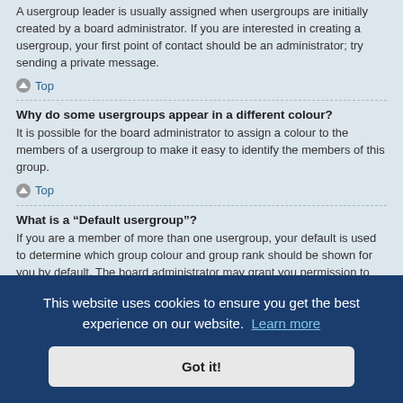A usergroup leader is usually assigned when usergroups are initially created by a board administrator. If you are interested in creating a usergroup, your first point of contact should be an administrator; try sending a private message.
Top
Why do some usergroups appear in a different colour?
It is possible for the board administrator to assign a colour to the members of a usergroup to make it easy to identify the members of this group.
Top
What is a “Default usergroup”?
If you are a member of more than one usergroup, your default is used to determine which group colour and group rank should be shown for you by default. The board administrator may grant you permission to change your default usergroup via your User Control Panel.
istrators
This website uses cookies to ensure you get the best experience on our website. Learn more
Got it!